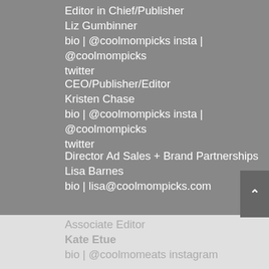Editor in Chief/Publisher
Liz Gumbinner
bio | @coolmompicks insta | @coolmompicks twitter
CEO/Publisher/Editor
Kristen Chase
bio | @coolmompicks insta | @coolmompicks twitter
Director Ad Sales + Brand Partnerships
Lisa Barnes
bio | lisa@coolmompicks.com
Associate Editor
Kate Etue
bio | @coolmomeats instagram